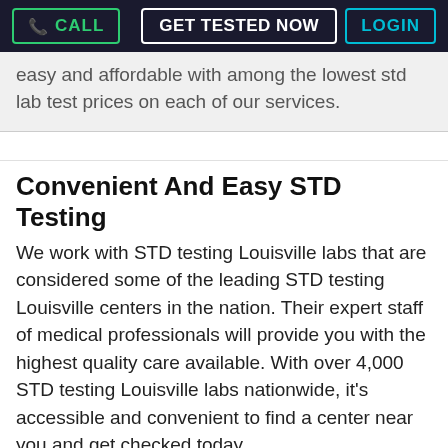CALL | GET TESTED NOW | LOGIN
easy and affordable with among the lowest std lab test prices on each of our services.
Convenient And Easy STD Testing
We work with STD testing Louisville labs that are considered some of the leading STD testing Louisville centers in the nation. Their expert staff of medical professionals will provide you with the highest quality care available. With over 4,000 STD testing Louisville labs nationwide, it's accessible and convenient to find a center near you and get checked today.
Confidential STD Testing At Your Finger Tip
We aut...